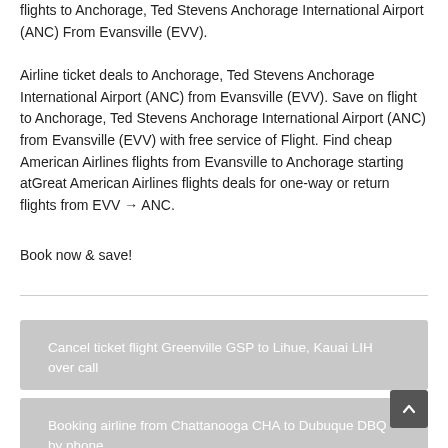flights to Anchorage, Ted Stevens Anchorage International Airport (ANC) From Evansville (EVV).
Airline ticket deals to Anchorage, Ted Stevens Anchorage International Airport (ANC) from Evansville (EVV). Save on flight to Anchorage, Ted Stevens Anchorage International Airport (ANC) from Evansville (EVV) with free service of Flight. Find cheap American Airlines flights from Evansville to Anchorage starting atGreat American Airlines flights deals for one-way or return flights from EVV → ANC.
Book now & save!
Cancel ticket flight Greenville GSP to Lihue, Kauai LIH over call
Booking airline from Chattanooga CHA to Dubuque DBQ by phone